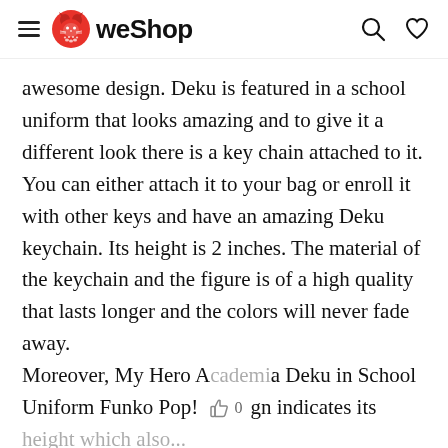WeShop
awesome design. Deku is featured in a school uniform that looks amazing and to give it a different look there is a key chain attached to it. You can either attach it to your bag or enroll it with other keys and have an amazing Deku keychain. Its height is 2 inches. The material of the keychain and the figure is of a high quality that lasts longer and the colors will never fade away.
Moreover, My Hero A[cademi]a Deku in School Uniform Funko Pop! [desi]gn indicates its [height which also...]